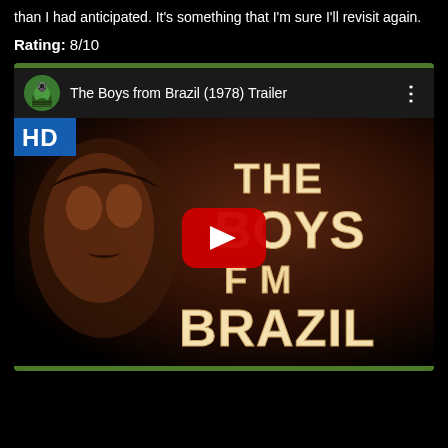than I had anticipated. It's something that I'm sure I'll revisit again.
Rating: 8/10
[Figure (screenshot): YouTube video embed showing 'The Boys from Brazil (1978) Trailer' with HD badge, channel icon, video title bar, and a movie poster thumbnail with play button overlay. The thumbnail shows illustrated artwork of a man's face with 'THE BOYS FROM BRAZIL' title text.]